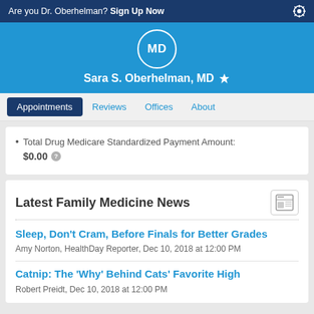Are you Dr. Oberhelman? Sign Up Now
Sara S. Oberhelman, MD
Appointments
Reviews
Offices
About
Total Drug Medicare Standardized Payment Amount: $0.00
Latest Family Medicine News
Sleep, Don't Cram, Before Finals for Better Grades
Amy Norton, HealthDay Reporter, Dec 10, 2018 at 12:00 PM
Catnip: The 'Why' Behind Cats' Favorite High
Robert Preidt, Dec 10, 2018 at 12:00 PM